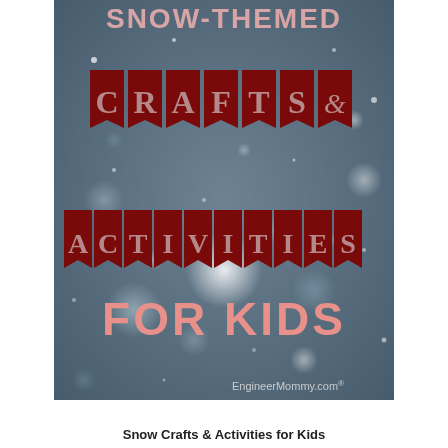[Figure (illustration): Snow-themed book cover with bokeh snow background. Text reads 'Snow-Themed' at top, then dark red banner flags spelling 'CRAFTS &' and 'ACTIVITIES', then pink text 'FOR KIDS' at bottom. Website EngineerMommy.com shown at bottom right.]
Snow Crafts & Activities for Kids